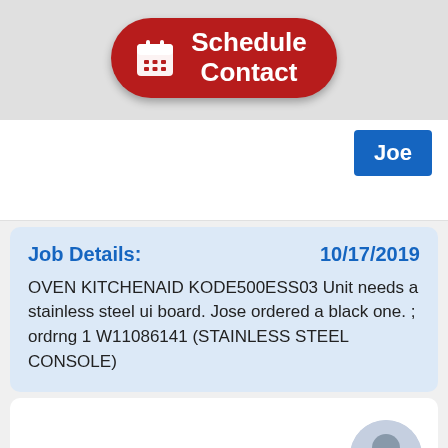[Figure (other): Red rounded button with calendar icon and text 'Schedule Contact']
Joe
Job Details:
10/17/2019
OVEN KITCHENAID KODE500ESS03 Unit needs a stainless steel ui board. Jose ordered a black one. ; ordrng 1 W11086141 (STAINLESS STEEL CONSOLE)